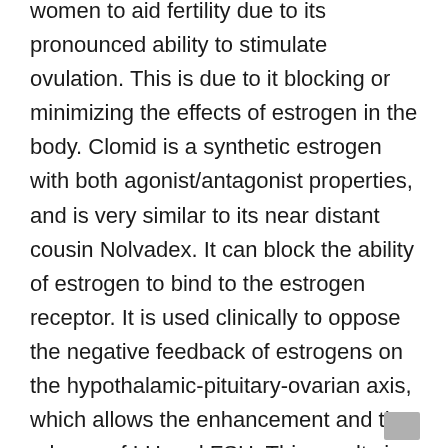women to aid fertility due to its pronounced ability to stimulate ovulation. This is due to it blocking or minimizing the effects of estrogen in the body. Clomid is a synthetic estrogen with both agonist/antagonist properties, and is very similar to its near distant cousin Nolvadex. It can block the ability of estrogen to bind to the estrogen receptor. It is used clinically to oppose the negative feedback of estrogens on the hypothalamic-pituitary-ovarian axis, which allows the enhancement and the release of LH and FSH. This results in assistance to induce ovulation.
In men the elevation in both follicle